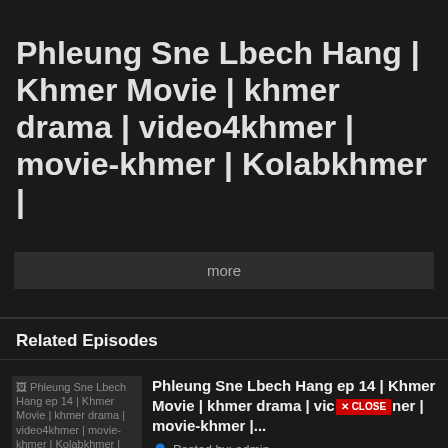Phleung Sne Lbech Hang | Khmer Movie | khmer drama | video4khmer | movie-khmer | Kolabkhmer |
more
Related Episodes
[Figure (screenshot): Thumbnail for Phleung Sne Lbech Hang ep 14 episode listing]
Phleung Sne Lbech Hang ep 14 | Khmer Movie | khmer drama | video4khmer | movie-khmer |... Posted by: admin Released on: 8 months ago
[Figure (screenshot): Thumbnail for Phleung Sne Lbech Hang ep 16 episode listing]
Phleung Sne Lbech Hang ep 16 | Khmer Movie | khmer drama | video4khmer | movie-khmer |... Posted by: admin Released on: 8 months ago